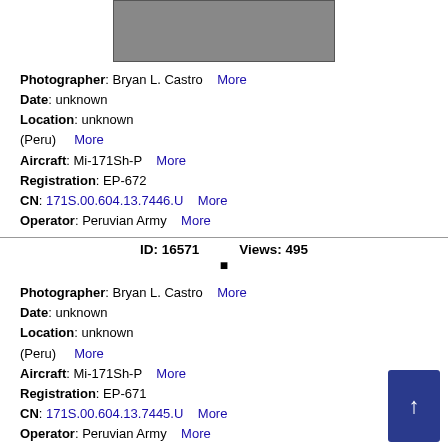[Figure (photo): Helicopter on tarmac, top portion visible]
Photographer: Bryan L. Castro   More
Date: unknown
Location: unknown (Peru)   More
Aircraft: Mi-171Sh-P   More
Registration: EP-672
CN: 171S.00.604.13.7446.U   More
Operator: Peruvian Army   More
ID: 16571   Views: 495
Photographer: Bryan L. Castro   More
Date: unknown
Location: unknown (Peru)   More
Aircraft: Mi-171Sh-P   More
Registration: EP-671
CN: 171S.00.604.13.7445.U   More
Operator: Peruvian Army   More
ID: 16570   Views: 474
Photographer: Bryan L. Castro   More